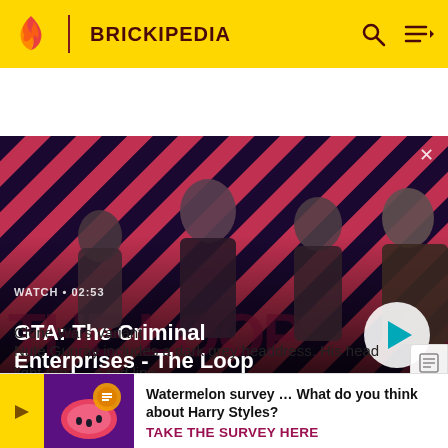BRICKIPEDIA
[Figure (screenshot): GTA: The Criminal Enterprises - The Loop video thumbnail with characters on a red and dark diagonal striped background. Play button overlay. Text: WATCH • 02:53, GTA: The Criminal Enterprises - The Loop]
Clone Wars Variant
Nute Gunray includes a dark grey headdress. His head light grey a red line torso is a
[Figure (infographic): Watermelon survey advertisement banner with purple background and icons. Text: Watermelon survey … What do you think about Harry Styles? TAKE THE SURVEY HERE]